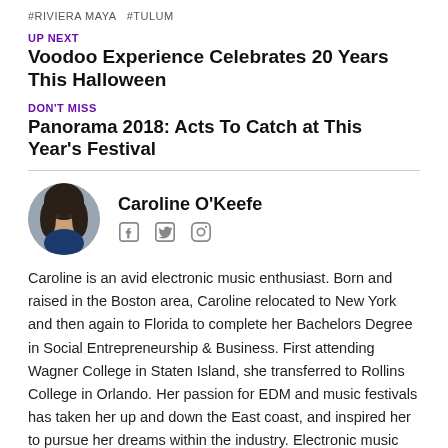#RIVIERA MAYA  #TULUM
UP NEXT
Voodoo Experience Celebrates 20 Years This Halloween
DON'T MISS
Panorama 2018: Acts To Catch at This Year's Festival
[Figure (photo): Circular profile photo of Caroline O'Keefe, a woman with dark hair]
Caroline O'Keefe
[Figure (infographic): Social media icons: Facebook, Twitter, Instagram]
Caroline is an avid electronic music enthusiast. Born and raised in the Boston area, Caroline relocated to New York and then again to Florida to complete her Bachelors Degree in Social Entrepreneurship & Business. First attending Wagner College in Staten Island, she transferred to Rollins College in Orlando. Her passion for EDM and music festivals has taken her up and down the East coast, and inspired her to pursue her dreams within the industry. Electronic music truly has been a blessing in her life, and landed her on a path she is sure is her life calling.